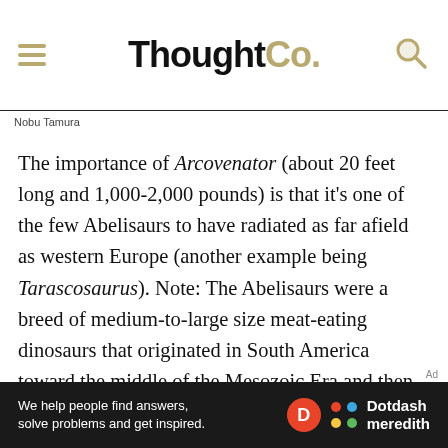ThoughtCo.
Nobu Tamura
The importance of Arcovenator (about 20 feet long and 1,000-2,000 pounds) is that it's one of the few Abelisaurs to have radiated as far afield as western Europe (another example being Tarascosaurus). Note: The Abelisaurs were a breed of medium-to-large size meat-eating dinosaurs that originated in South America toward the middle of the Mesozoic Era and then spread to other parts of the world (while still remaining clustered, for the most part, on their home continent). In any event, this fearsome, 20-foot-long Arcovenator seems to have been most closely related to Majungasaurus from the island of Madagascar and also to Rajasaurus, which was discovered ir
We help people find answers, solve problems and get inspired. Dotdash meredith